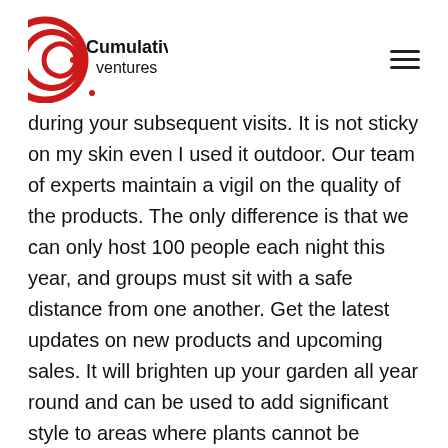[Figure (logo): Cumulative Ventures logo with red circular C icon and black text]
during your subsequent visits. It is not sticky on my skin even I used it outdoor. Our team of experts maintain a vigil on the quality of the products. The only difference is that we can only host 100 people each night this year, and groups must sit with a safe distance from one another. Get the latest updates on new products and upcoming sales. It will brighten up your garden all year round and can be used to add significant style to areas where plants cannot be encourage to grow. Frosted Cranberry A fresh picked basket of frosted cranberry, red apple and blonde wood. Just stay away from the horse. Great prices, professional employees and timely